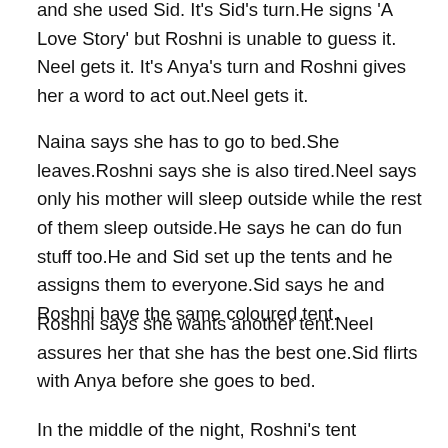and she used Sid. It's Sid's turn.He signs 'A Love Story' but Roshni is unable to guess it. Neel gets it. It's Anya's turn and Roshni gives her a word to act out.Neel gets it.
Naina says she has to go to bed.She leaves.Roshni says she is also tired.Neel says only his mother will sleep outside while the rest of them sleep outside.He says he can do fun stuff too.He and Sid set up the tents and he assigns them to everyone.Sid says he and Roshni have the same coloured tent.
Roshni says she wants another tent.Neel assures her that she has the best one.Sid flirts with Anya before she goes to bed.
In the middle of the night, Roshni's tent collapses.Sid